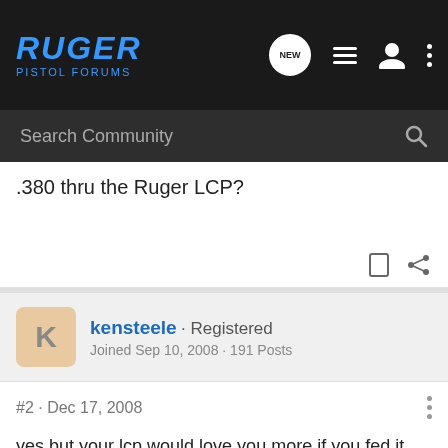RUGER PISTOL FORUMS
Search Community
.380 thru the Ruger LCP?
kensteele · Registered
Joined Sep 10, 2008 · 191 Posts
#2 · Dec 17, 2008
yes but your lcp would love you more if you fed it dpx. 🙂